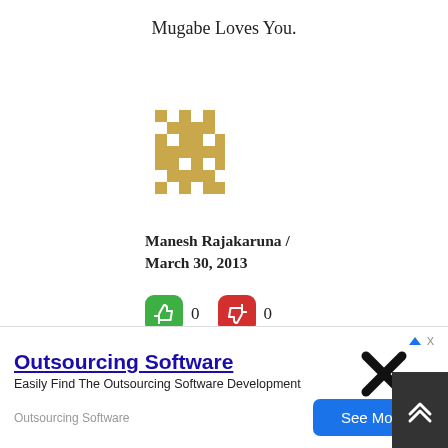Mugabe Loves You.
[Figure (illustration): A gold/tan pixel-art style avatar icon, showing a decorative geometric pattern.]
Manesh Rajakaruna / March 30, 2013
[Figure (infographic): Thumbs up (green) vote button with count 0, thumbs down (red) vote button with count 0]
Idiot W???
DO not falk you big fat nose to every hole you see. You reminds me the story of
[Figure (other): Large black X close button]
Outsourcing Software
Easily Find The Outsourcing Software Development
Outsourcing Software
[Figure (other): Blue 'See More' button. Scroll-up dark arrow button on right.]